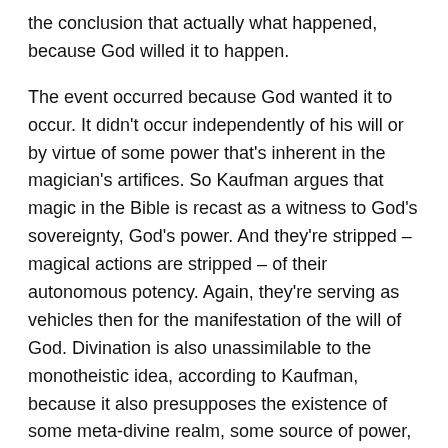the conclusion that actually what happened, because God willed it to happen.
The event occurred because God wanted it to occur. It didn't occur independently of his will or by virtue of some power that's inherent in the magician's artifices. So Kaufman argues that magic in the Bible is recast as a witness to God's sovereignty, God's power. And they're stripped – magical actions are stripped – of their autonomous potency. Again, they're serving as vehicles then for the manifestation of the will of God. Divination is also unassimilable to the monotheistic idea, according to Kaufman, because it also presupposes the existence of some meta-divine realm, some source of power, knowledge or information that transcends God. And again, it's an attempt to reveal God's secrets in an ungodly way, predicated on a mistake. It is permitted to make inquiries of God through oracular devices but God only